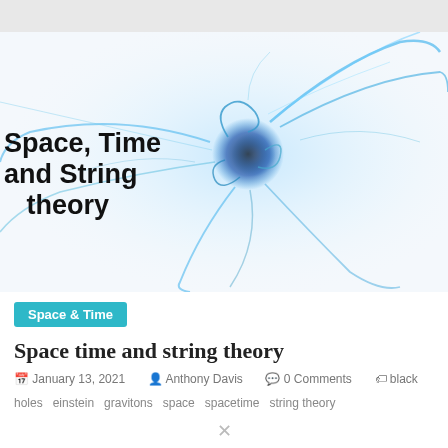[Figure (illustration): Abstract blue swirling energy or particle illustration on a white background, representing space-time or string theory concept. Title text 'Space, Time and String theory' overlaid on the left side of the image.]
Space & Time
Space time and string theory
January 13, 2021   Anthony Davis   0 Comments   black holes  einstein  gravitons  space  spacetime  string theory